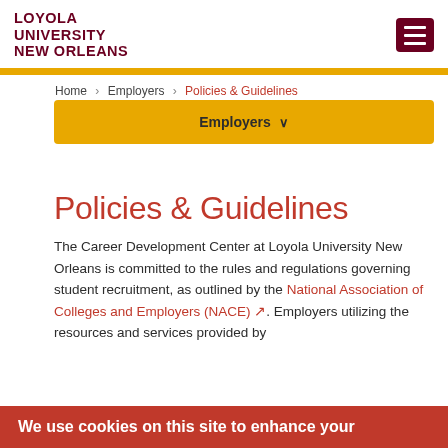[Figure (logo): Loyola University New Orleans logo — bold dark red text]
Loyola University New Orleans — header with menu button and gold bar
Home › Employers › Policies & Guidelines
Employers ∨
Policies & Guidelines
The Career Development Center at Loyola University New Orleans is committed to the rules and regulations governing student recruitment, as outlined by the National Association of Colleges and Employers (NACE). Employers utilizing the resources and services provided by
We use cookies on this site to enhance your